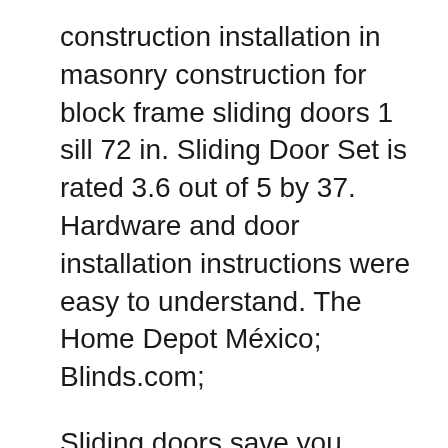construction installation in masonry construction for block frame sliding doors 1 sill 72 in. Sliding Door Set is rated 3.6 out of 5 by 37. Hardware and door installation instructions were easy to understand. The Home Depot México; Blinds.com;
Sliding doors save you space and will look great in your home. Learn how to install sliding doors with this instructional guide from Bunnings Warehouse. SLIDING SHOWER ENCLOSURE INSTALLATION MANUAL Important Safety Notes and Aftercare Instructions 3 4 5 5 2 Fixed Door Assembly Sliding Door ...